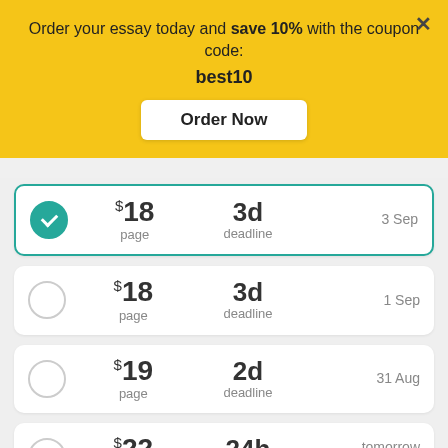Order your essay today and save 10% with the coupon code: best10
Order Now
$18 page | 3d deadline | 3 Sep (selected)
$18 page | 3d deadline | 1 Sep
$19 page | 2d deadline | 31 Aug
$22 page | 24h deadline | tomorrow at 7 PM
$24 page | 12h deadline | tomorrow at 7 AM